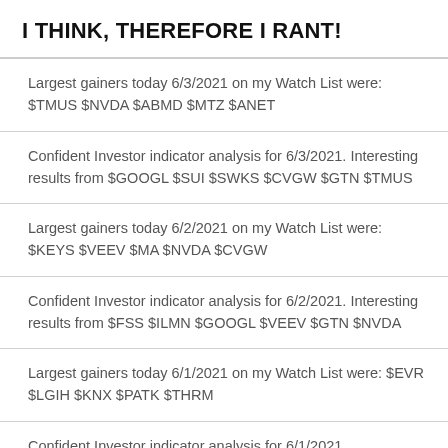I THINK, THEREFORE I RANT!
Largest gainers today 6/3/2021 on my Watch List were: $TMUS $NVDA $ABMD $MTZ $ANET
Confident Investor indicator analysis for 6/3/2021. Interesting results from $GOOGL $SUI $SWKS $CVGW $GTN $TMUS
Largest gainers today 6/2/2021 on my Watch List were: $KEYS $VEEV $MA $NVDA $CVGW
Confident Investor indicator analysis for 6/2/2021. Interesting results from $FSS $ILMN $GOOGL $VEEV $GTN $NVDA
Largest gainers today 6/1/2021 on my Watch List were: $EVR $LGIH $KNX $PATK $THRM
Confident Investor indicator analysis for 6/1/2021.